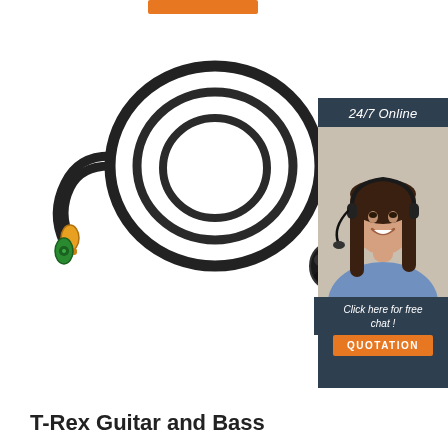[Figure (photo): Orange bar/button at top of page]
[Figure (photo): Product photo: T-Rex guitar and bass cable, coiled black cable with yellow and green connectors on one end and a multi-pin plug on the other]
[Figure (photo): Sidebar advertisement: woman with headset smiling, dark blue background, text '24/7 Online', 'Click here for free chat!', orange QUOTATION button]
T-Rex Guitar and Bass